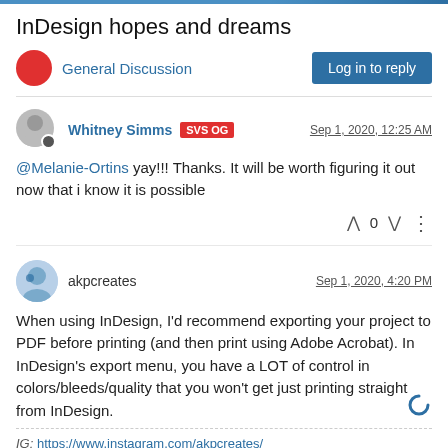InDesign hopes and dreams
General Discussion
Log in to reply
Whitney Simms  SVS OG   Sep 1, 2020, 12:25 AM
@Melanie-Ortins yay!!! Thanks. It will be worth figuring it out now that i know it is possible
0
akpcreates   Sep 1, 2020, 4:20 PM
When using InDesign, I'd recommend exporting your project to PDF before printing (and then print using Adobe Acrobat). In InDesign's export menu, you have a LOT of control in colors/bleeds/quality that you won't get just printing straight from InDesign.
IG: https://www.instagram.com/akpcreates/